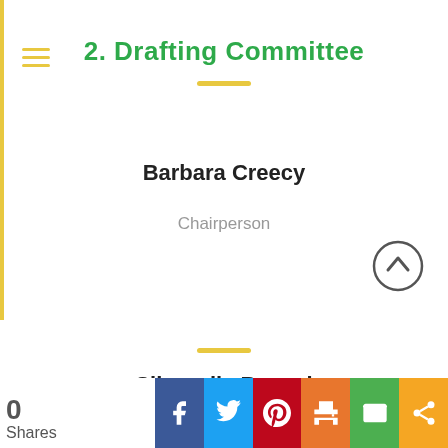2. Drafting Committee
Barbara Creecy
Chairperson
Sibongile Besani
0 Shares | Facebook | Twitter | Pinterest | Print | Email | Share